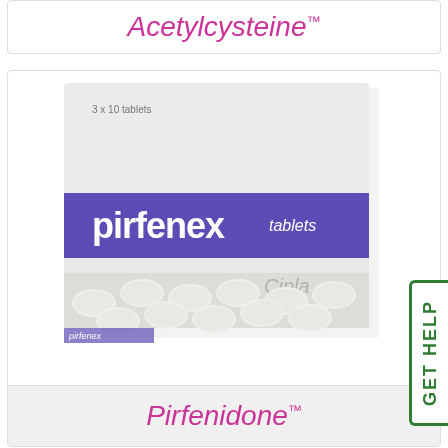Acetylcysteine™
[Figure (photo): Photo of Pirfenex tablets box by Cipla with blister pack of white oval tablets in foreground]
Pirfenidone™